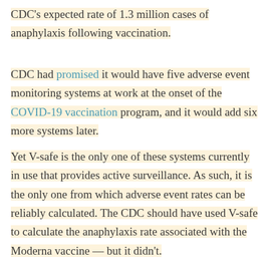CDC's expected rate of 1.3 million cases of anaphylaxis following vaccination.
CDC had promised it would have five adverse event monitoring systems at work at the onset of the COVID-19 vaccination program, and it would add six more systems later.
Yet V-safe is the only one of these systems currently in use that provides active surveillance. As such, it is the only one from which adverse event rates can be reliably calculated. The CDC should have used V-safe to calculate the anaphylaxis rate associated with the Moderna vaccine — but it didn't.